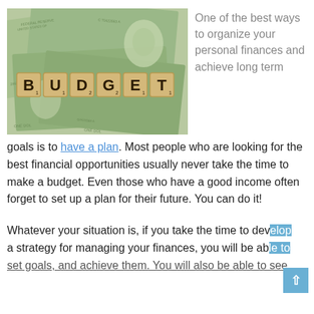[Figure (photo): Scrabble tiles spelling BUDGET laid on top of US dollar bills]
One of the best ways to organize your personal finances and achieve long term goals is to have a plan. Most people who are looking for the best financial opportunities usually never take the time to make a budget. Even those who have a good income often forget to set up a plan for their future. You can do it!
Whatever your situation is, if you take the time to develop a strategy for managing your finances, you will be able to set goals, and achieve them. You will also be able to see